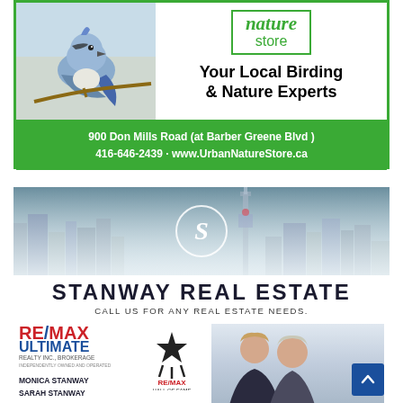[Figure (illustration): Urban Nature Store advertisement. Blue jay bird photo on left, nature store logo in green box top right, tagline 'Your Local Birding & Nature Experts' in bold black. Green banner at bottom with address: 900 Don Mills Road (at Barber Greene Blvd), 416-646-2439, www.UrbanNatureStore.ca]
[Figure (illustration): Stanway Real Estate advertisement. Toronto skyline background image with circular S logo. Text: STANWAY REAL ESTATE, CALL US FOR ANY REAL ESTATE NEEDS. RE/MAX ULTIMATE REALTY INC. BROKERAGE logo. Agent names: MONICA STANWAY, SARAH STANWAY. Phone: Monica: 416.873.1053, Sarah: 647.822.6959. RE/MAX Hall of Fame badge. Photo of two women agents. Scroll-to-top button.]